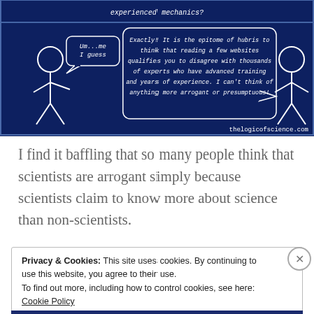[Figure (illustration): A dark blue comic strip panel with two stick figures. The right stick figure says in a speech bubble: 'Exactly! It is the epitome of hubris to think that reading a few websites qualifies you to disagree with thousands of experts who have advanced training and years of experience. I can't think of anything more arrogant or presumptuous!' The left figure says 'Um...me I guess'. Watermark: thelogicofscience.com]
I find it baffling that so many people think that scientists are arrogant simply because scientists claim to know more about science than non-scientists.
Privacy & Cookies: This site uses cookies. By continuing to use this website, you agree to their use.
To find out more, including how to control cookies, see here: Cookie Policy
Close and accept